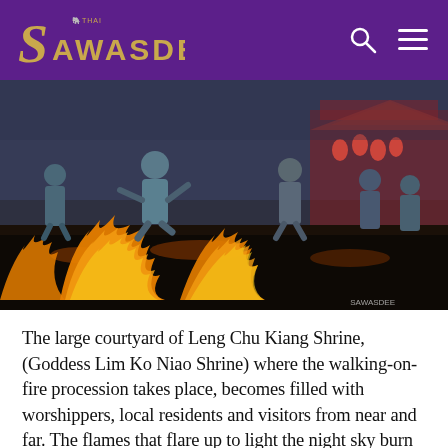Thai Sawasdee
[Figure (photo): Men in blue shirts walking through fire during a fire-walking procession at Leng Chu Kiang Shrine (Goddess Lim Ko Niao Shrine). Large flames fill the foreground. A Chinese temple with red lanterns is visible in the background.]
The large courtyard of Leng Chu Kiang Shrine, (Goddess Lim Ko Niao Shrine) where the walking-on-fire procession takes place, becomes filled with worshippers, local residents and visitors from near and far. The flames that flare up to light the night sky burn as fervently as the faith that the